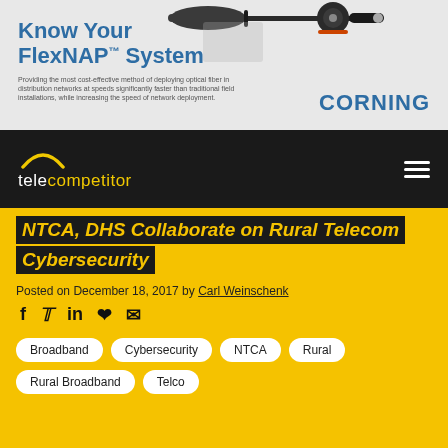[Figure (illustration): Corning FlexNAP System advertisement banner with fiber optic cable connectors on a grey background. Text reads 'Know Your FlexNAP™ System' with Corning logo.]
[Figure (logo): Telecompetitor website navigation bar with logo (yellow arc, white text 'telecompetitor') on black background and hamburger menu icon.]
NTCA, DHS Collaborate on Rural Telecom Cybersecurity
Posted on December 18, 2017 by Carl Weinschenk
Broadband
Cybersecurity
NTCA
Rural
Rural Broadband
Telco